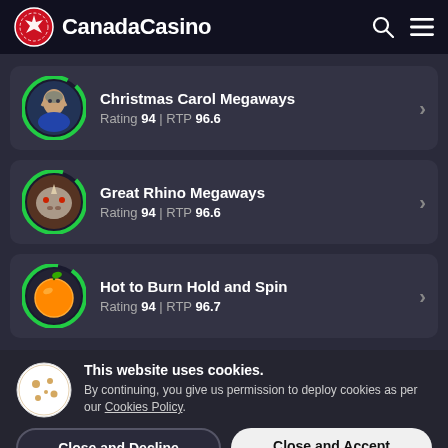CanadaCasino
Christmas Carol Megaways — Rating 94 | RTP 96.6
Great Rhino Megaways — Rating 94 | RTP 96.6
Hot to Burn Hold and Spin — Rating 94 | RTP 96.7
This website uses cookies. By continuing, you give us permission to deploy cookies as per our Cookies Policy.
Close and Decline
Close and Accept